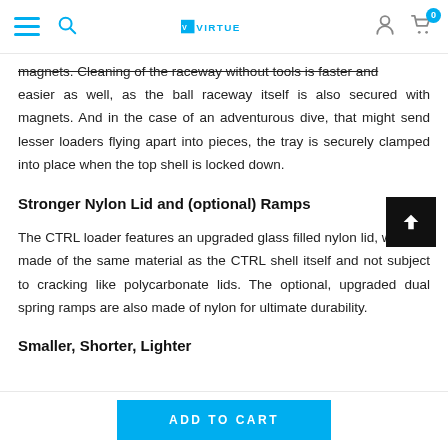Virtue paintball navigation header with logo
magnets. Cleaning of the raceway without tools is faster and easier as well, as the ball raceway itself is also secured with magnets. And in the case of an adventurous dive, that might send lesser loaders flying apart into pieces, the tray is securely clamped into place when the top shell is locked down.
Stronger Nylon Lid and (optional) Ramps
The CTRL loader features an upgraded glass filled nylon lid, which is made of the same material as the CTRL shell itself and not subject to cracking like polycarbonate lids. The optional, upgraded dual spring ramps are also made of nylon for ultimate durability.
Smaller, Shorter, Lighter
ADD TO CART